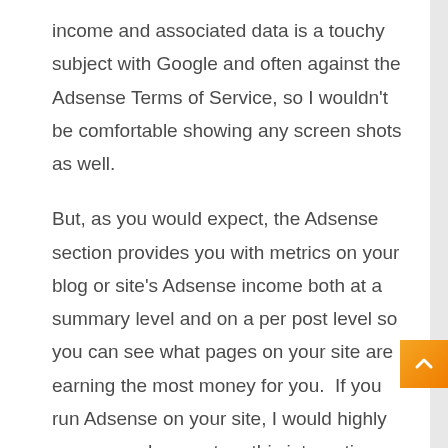income and associated data is a touchy subject with Google and often against the Adsense Terms of Service, so I wouldn't be comfortable showing any screen shots as well.
But, as you would expect, the Adsense section provides you with metrics on your blog or site's Adsense income both at a summary level and on a per post level so you can see what pages on your site are earning the most money for you.  If you run Adsense on your site, I would highly recommend you set-up this integration and use the data in this Analytics section.
F...